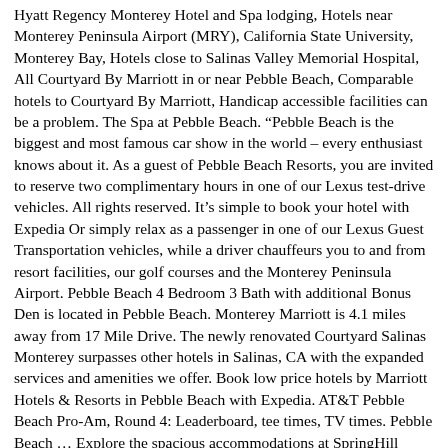Hyatt Regency Monterey Hotel and Spa lodging, Hotels near Monterey Peninsula Airport (MRY), California State University, Monterey Bay, Hotels close to Salinas Valley Memorial Hospital, All Courtyard By Marriott in or near Pebble Beach, Comparable hotels to Courtyard By Marriott, Handicap accessible facilities can be a problem. The Spa at Pebble Beach. “Pebble Beach is the biggest and most famous car show in the world – every enthusiast knows about it. As a guest of Pebble Beach Resorts, you are invited to reserve two complimentary hours in one of our Lexus test-drive vehicles. All rights reserved. It’s simple to book your hotel with Expedia Or simply relax as a passenger in one of our Lexus Guest Transportation vehicles, while a driver chauffeurs you to and from resort facilities, our golf courses and the Monterey Peninsula Airport. Pebble Beach 4 Bedroom 3 Bath with additional Bonus Den is located in Pebble Beach. Monterey Marriott is 4.1 miles away from 17 Mile Drive. The newly renovated Courtyard Salinas Monterey surpasses other hotels in Salinas, CA with the expanded services and amenities we offer. Book low price hotels by Marriott Hotels & Resorts in Pebble Beach with Expedia. AT&T Pebble Beach Pro-Am, Round 4: Leaderboard, tee times, TV times. Pebble Beach … Explore the spacious accommodations at SpringHill Suites The Dunes On Monterey Bay, a Marina, CA, hotel offering free parking and free Wi-Fi. Book now your hotel in Pebble Beach and pay later with Expedia. ... One Lamborghini Balboni will be judging is J.W. Our hotel near Marina State Beach is close to the Monterey Bay Aquarium and Pebble Beach.